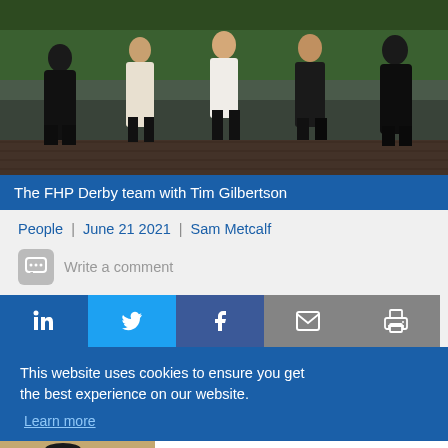[Figure (photo): Group photo of the FHP Derby team with Tim Gilbertson, people standing outdoors on a wooden deck with greenery in background]
The FHP Derby team with Tim Gilbertson
People | June 21 2021 | Sam Metcalf
Write a comment
Social share buttons: LinkedIn, Twitter, Facebook, Email, Print
This website uses cookies to ensure you get the best experience on our website. Learn more
Homeowners Are Trading In Their Doorbell Cams For This
Happening Today | Sponsored